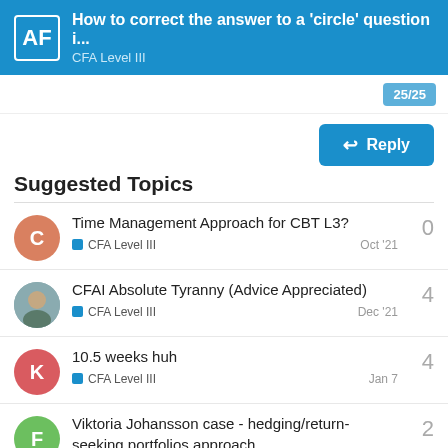AF — How to correct the answer to a 'circle' question i... CFA Level III
Suggested Topics
Time Management Approach for CBT L3? — CFA Level III — Oct '21 — 0 replies
CFAI Absolute Tyranny (Advice Appreciated) — CFA Level III — Dec '21 — 4 replies
10.5 weeks huh — CFA Level III — Jan 7 — 4 replies
Viktoria Johansson case - hedging/return-seeking portfolios approach — 2 replies